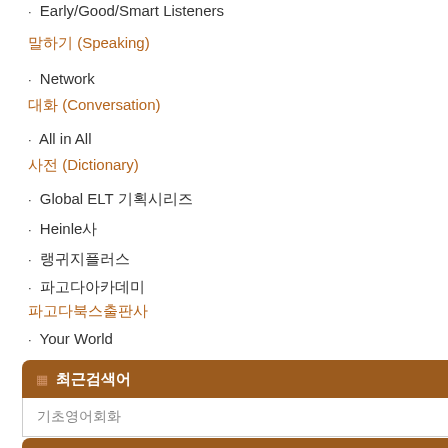· Early/Good/Smart Listeners
말하기 (Speaking)
· Network
대화 (Conversation)
· All in All
사전 (Dictionary)
· Global ELT 기획시리즈
· Heinle사
· 랭귀지플러스
· 파고다아카데미
파고다북스출판사
· Your World
최근검색어
기초영어회화
연관검색어목록